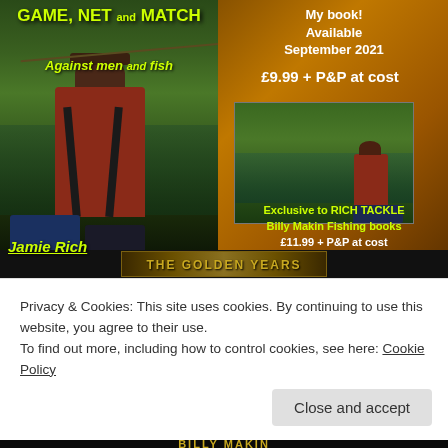[Figure (photo): Book advertisement image showing 'GAME, NET and MATCH - Against men and fish' by Jamie Rich. Left side: fishing scene with person in red jacket fishing by a lake. Right side: golden/orange background with text advertising the book available September 2021 for £9.99 + P&P at cost, small photo of fisherman by lake, and text 'Exclusive to RICH TACKLE Billy Makin Fishing books £11.99 + P&P at cost'. Bottom bar with 'THE GOLDEN YEARS' text.]
Privacy & Cookies: This site uses cookies. By continuing to use this website, you agree to their use.
To find out more, including how to control cookies, see here: Cookie Policy
[Figure (photo): Partial view of bottom banner showing 'BILLY MAKIN' text in gold on black background]